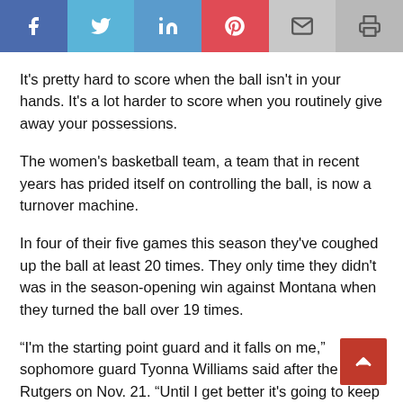[Figure (other): Social sharing bar with Facebook, Twitter, LinkedIn, Pinterest, Email, and Print buttons]
It's pretty hard to score when the ball isn't in your hands. It's a lot harder to score when you routinely give away your possessions.
The women's basketball team, a team that in recent years has prided itself on controlling the ball, is now a turnover machine.
In four of their five games this season they've coughed up the ball at least 20 times. They only time they didn't was in the season-opening win against Montana when they turned the ball over 19 times.
“I'm the starting point guard and it falls on me,” sophomore guard Tyonna Williams said after the los… Rutgers on Nov. 21. “Until I get better it's going to keep